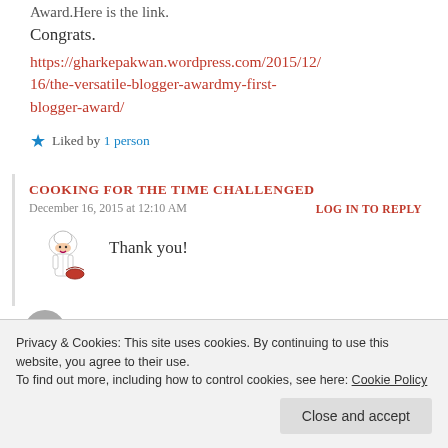Award.Here is the link.
Congrats.
https://gharkepakwan.wordpress.com/2015/12/16/the-versatile-blogger-awardmy-first-blogger-award/
Liked by 1 person
COOKING FOR THE TIME CHALLENGED
December 16, 2015 at 12:10 AM
LOG IN TO REPLY
[Figure (illustration): Chef avatar illustration]
Thank you!
You are always welcome 😍
Privacy & Cookies: This site uses cookies. By continuing to use this website, you agree to their use. To find out more, including how to control cookies, see here: Cookie Policy
Close and accept